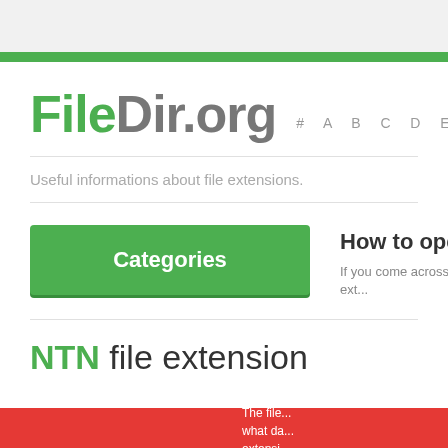FileDir.org
Useful informations about file extensions.
Categories
How to open NTN
If you come across some file ext...
NTN file extension
The file... what da... extensi...